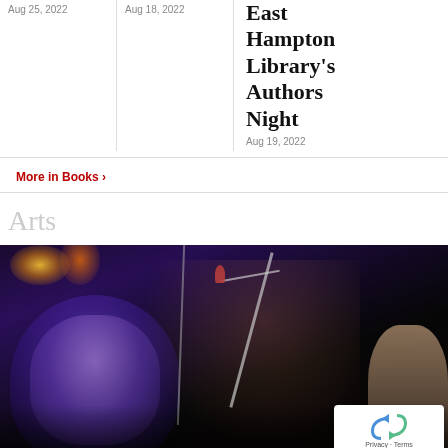Aug 25, 2022
Aug 18, 2022
East Hampton Library's Authors Night
Aug 19, 2022
More in Books ›
Arts
[Figure (photo): Concert photo of a bearded musician with long hair and a backwards cap playing a white electric guitar at a microphone stand, with a purple-lit large face projected in the background and another person visible on far right, stage lighting visible at top left.]